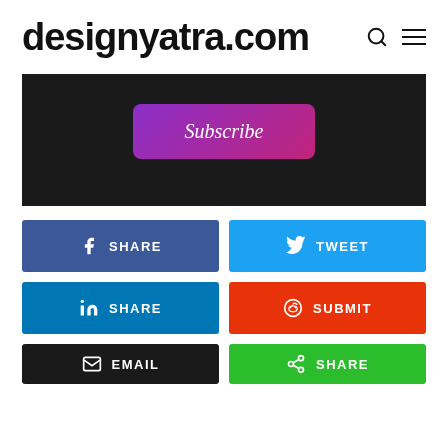designyatra.com
[Figure (screenshot): Dark banner with a Subscribe button styled with a purple-to-pink gradient]
[Figure (infographic): Grid of social share buttons: SHARE (Facebook), TWEET (Twitter), SHARE (LinkedIn), SUBMIT (Reddit), EMAIL, SHARE (green)]